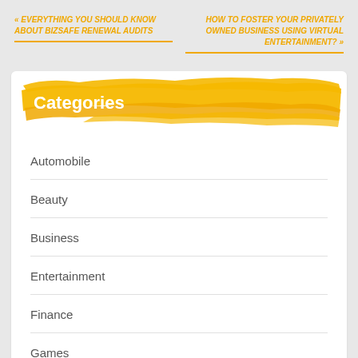« EVERYTHING YOU SHOULD KNOW ABOUT BIZSAFE RENEWAL AUDITS
HOW TO FOSTER YOUR PRIVATELY OWNED BUSINESS USING VIRTUAL ENTERTAINMENT? »
Categories
Automobile
Beauty
Business
Entertainment
Finance
Games